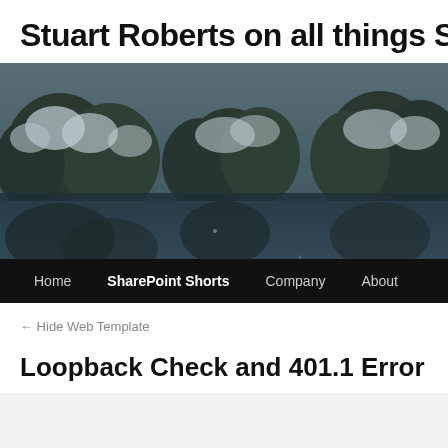Stuart Roberts on all things Sh
[Figure (photo): Winter landscape with frost-covered trees reflected in a dark river or lake. Navigation bar at bottom with Home, SharePoint Shorts, Company, About links.]
← Hide Web Template
Loopback Check and 401.1 Error